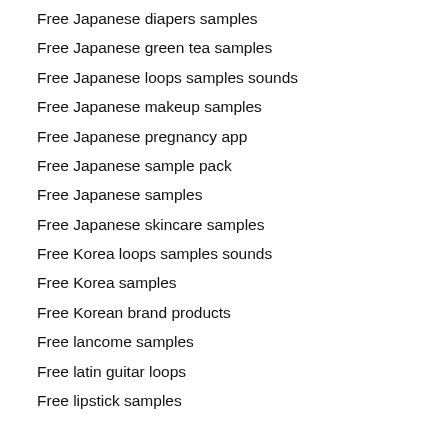Free Japanese diapers samples
Free Japanese green tea samples
Free Japanese loops samples sounds
Free Japanese makeup samples
Free Japanese pregnancy app
Free Japanese sample pack
Free Japanese samples
Free Japanese skincare samples
Free Korea loops samples sounds
Free Korea samples
Free Korean brand products
Free lancome samples
Free latin guitar loops
Free lipstick samples